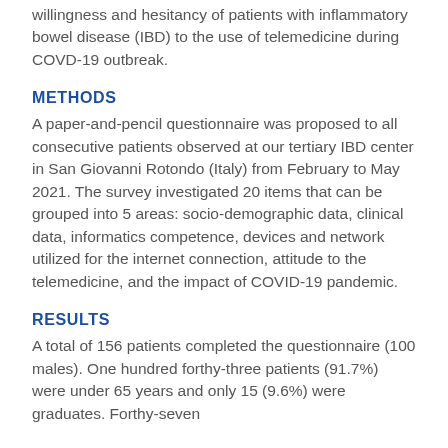The aim of this survey was to explore the willingness and hesitancy of patients with inflammatory bowel disease (IBD) to the use of telemedicine during COVD-19 outbreak.
METHODS
A paper-and-pencil questionnaire was proposed to all consecutive patients observed at our tertiary IBD center in San Giovanni Rotondo (Italy) from February to May 2021. The survey investigated 20 items that can be grouped into 5 areas: socio-demographic data, clinical data, informatics competence, devices and network utilized for the internet connection, attitude to the telemedicine, and the impact of COVID-19 pandemic.
RESULTS
A total of 156 patients completed the questionnaire (100 males). One hundred forthy-three patients (91.7%) were under 65 years and only 15 (9.6%) were graduates. Forthy-seven